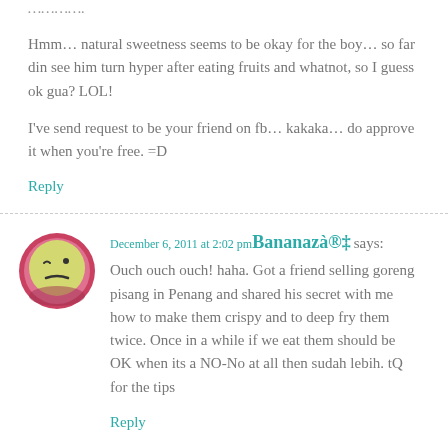Hmm… natural sweetness seems to be okay for the boy… so far din see him turn hyper after eating fruits and whatnot, so I guess ok gua? LOL!
I've send request to be your friend on fb… kakaka… do approve it when you're free. =D
Reply
December 6, 2011 at 2:02 pm Bananazà®‡ says:
Ouch ouch ouch! haha. Got a friend selling goreng pisang in Penang and shared his secret with me how to make them crispy and to deep fry them twice. Once in a while if we eat them should be OK when its a NO-No at all then sudah lebih. tQ for the tips
Reply